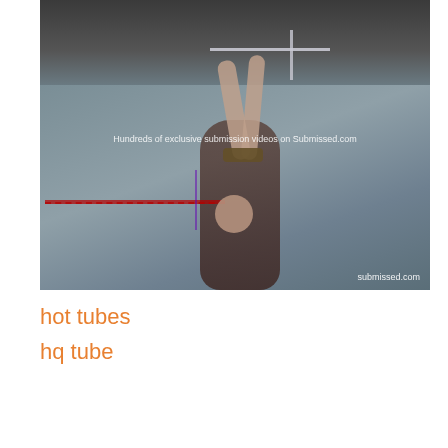[Figure (photo): Video thumbnail showing a woman with hands bound and raised above her head, in an industrial setting. Watermark text reads 'Hundreds of exclusive submission videos on Submissed.com' and 'submissed.com' in corner.]
hot tubes
hq tube